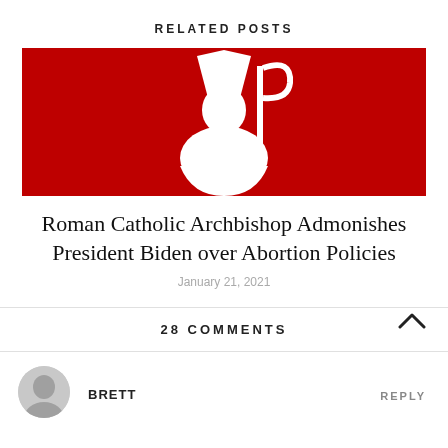RELATED POSTS
[Figure (illustration): Red background with white silhouette of a Catholic bishop/archbishop wearing a mitre and holding a crozier staff]
Roman Catholic Archbishop Admonishes President Biden over Abortion Policies
January 21, 2021
28 COMMENTS
BRETT
REPLY